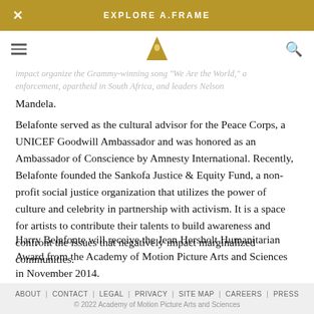EXPLORE A.FRAME
impact organize the Grammy-winning song "We Are the World," enforcement, apartheid in South Africa, and leaders Nelson Mandela.
Belafonte served as the cultural advisor for the Peace Corps, a UNICEF Goodwill Ambassador and was honored as an Ambassador of Conscience by Amnesty International. Recently, Belafonte founded the Sankofa Justice & Equity Fund, a non-profit social justice organization that utilizes the power of culture and celebrity in partnership with activism. It is a space for artists to contribute their talents to build awareness and confront the issues that negatively impact marginalized communities.
Harry Belafonte will receive the Jean Hersholt Humanitarian Award from the Academy of Motion Picture Arts and Sciences in November 2014.
ABOUT | CONTACT | LEGAL | PRIVACY | SITE MAP | CAREERS | PRESS
© 2022 Academy of Motion Picture Arts and Sciences